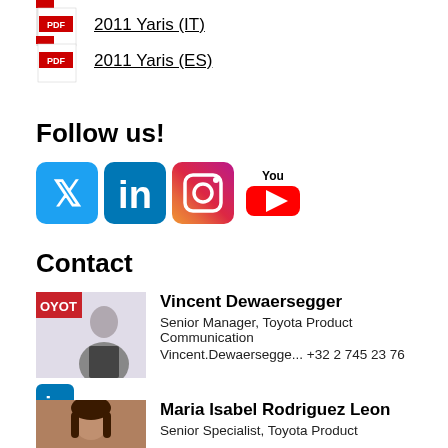2011 Yaris (IT)
2011 Yaris (ES)
Follow us!
[Figure (logo): Social media icons: Twitter, LinkedIn, Instagram, YouTube]
Contact
Vincent Dewaersegger
Senior Manager, Toyota Product Communication
Vincent.Dewaersegge... +32 2 745 23 76
Maria Isabel Rodriguez Leon
Senior Specialist, Toyota Product